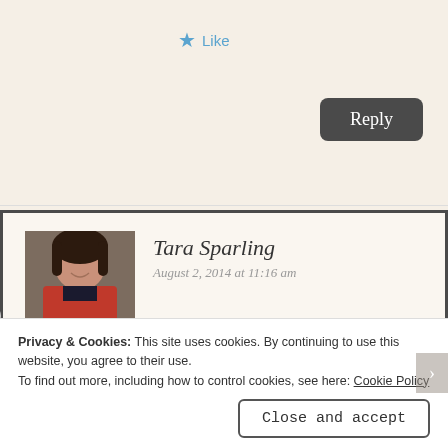★ Like
Reply
Tara Sparling
August 2, 2014 at 11:16 am
It seemed to me from the answers that discoverability began with the social media side. Either the author was discovered, and readers thought
Privacy & Cookies: This site uses cookies. By continuing to use this website, you agree to their use.
To find out more, including how to control cookies, see here: Cookie Policy
Close and accept